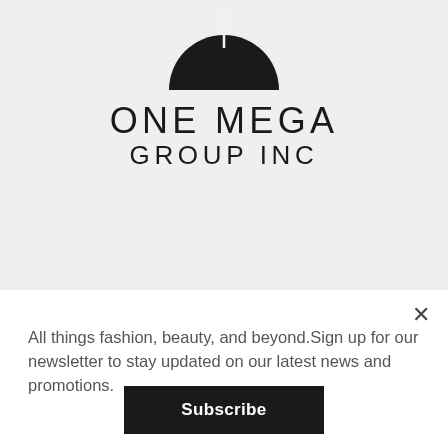[Figure (logo): One Mega Group Inc logo — black circle with a vertical line/stem at top, with text 'ONE MEGA GROUP INC' below in spaced capital letters]
All things fashion, beauty, and beyond.Sign up for our newsletter to stay updated on our latest news and promotions.
Subscribe